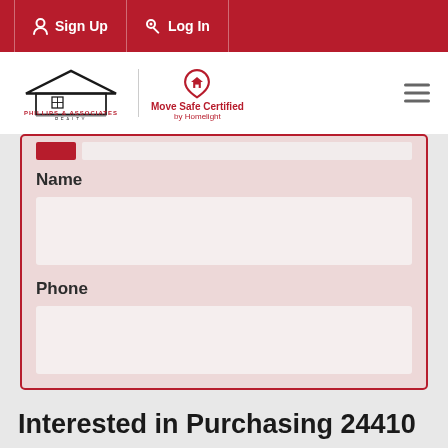Sign Up  Log In
[Figure (logo): Phillips & Associates Realty logo with house icon, plus Move Safe Certified by Homelight badge]
Name
Phone
Interested in Purchasing 24410